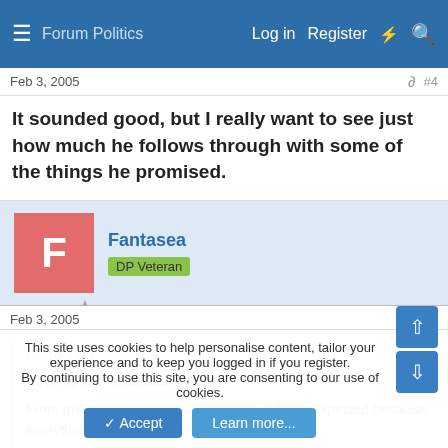Log in  Register
Feb 3, 2005  #4
It sounded good, but I really want to see just how much he follows through with some of the things he promised.
Fantasea  DP Veteran
Feb 3, 2005  #5
Gabo said:
The speech infuriated me.
From my reading of your writings, this is to be expected because everything, it seems, infuriates you.
This site uses cookies to help personalise content, tailor your experience and to keep you logged in if you register. By continuing to use this site, you are consenting to our use of cookies.